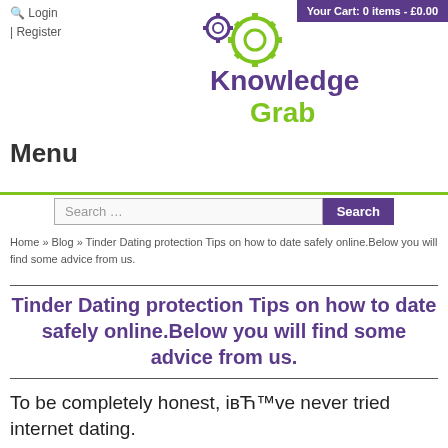Your Cart: 0 items - £0.00
Login | Register
[Figure (logo): Knowledge Grab logo with gear icons]
Menu
Search …
Home » Blog » Tinder Dating protection Tips on how to date safely online.Below you will find some advice from us.
Tinder Dating protection Tips on how to date safely online.Below you will find some advice from us.
To be completely honest, івЋ™ve never tried internet dating.